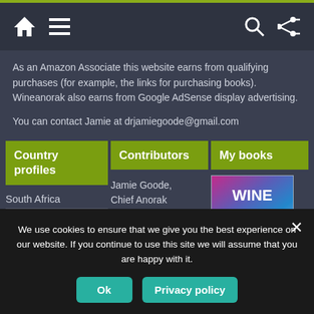Navigation bar with home, menu, search, and shuffle icons
As an Amazon Associate this website earns from qualifying purchases (for example, the links for purchasing books). Wineanorak also earns from Google AdSense display advertising.
You can contact Jamie at drjamiegoode@gmail.com
Country profiles
Contributors
My books
South Africa
Jamie Goode, Chief Anorak
[Figure (photo): Wine Science book cover with colorful gradient background]
We use cookies to ensure that we give you the best experience on our website. If you continue to use this site we will assume that you are happy with it.